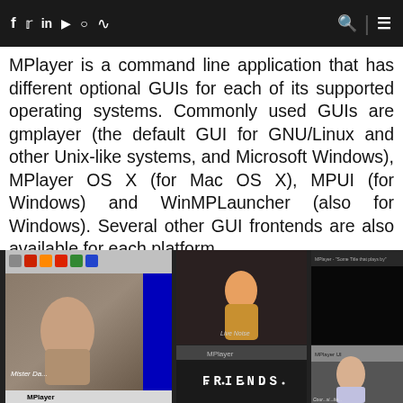Social media icons and navigation bar
MPlayer is a command line application that has different optional GUIs for each of its supported operating systems. Commonly used GUIs are gmplayer (the default GUI for GNU/Linux and other Unix-like systems, and Microsoft Windows), MPlayer OS X (for Mac OS X), MPUI (for Windows) and WinMPLauncher (also for Windows). Several other GUI frontends are also available for each platform.
[Figure (screenshot): Screenshot composite showing MPlayer GUI running on different operating systems with TV show Friends playing in multiple panels]